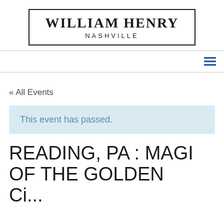WILLIAM HENRY NASHVILLE
« All Events
This event has passed.
READING, PA : MAGI OF THE GOLDEN ...